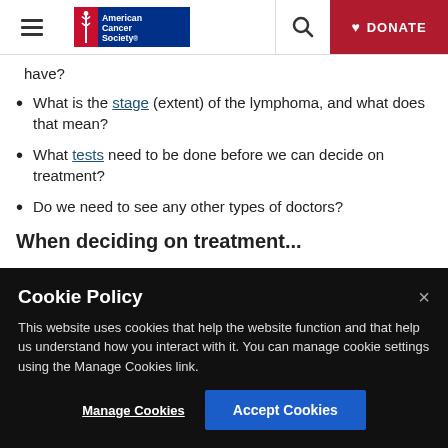American Cancer Society — navigation header with logo, search, and DONATE button
have?
What is the stage (extent) of the lymphoma, and what does that mean?
What tests need to be done before we can decide on treatment?
Do we need to see any other types of doctors?
When deciding on treatment...
Cookie Policy — This website uses cookies that help the website function and that help us understand how you interact with it. You can manage cookie settings using the Manage Cookies link.